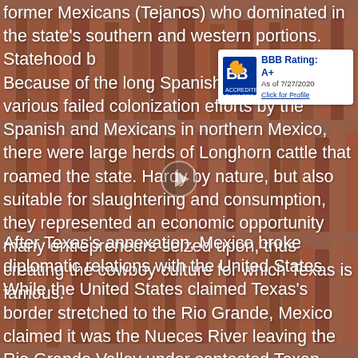former Mexicans (Tejanos) who dominated in the state's southern and western portions. Statehood brought new settlers. Because of the long Spanish presence in Mexico and various failed colonization efforts by the Spanish and Mexicans in northern Mexico, there were large herds of Longhorn cattle that roamed the state. Hardy by nature, but also suitable for slaughtering and consumption, they represented an economic opportunity many entrepreneurs seized upon, thus creating the cowboy culture for which Texas is famous.
[Figure (logo): BBB Accredited Business badge showing BBB Rating: A+ As of 7/27/2020, Click for Profile]
After Texas's annexation, Mexico broke diplomatic relations with the United States. While the United States claimed Texas's border stretched to the Rio Grande, Mexico claimed it was the Nueces River leaving the Rio Grande Valley under contested Texan sovereignty. While the former Republic of Texas could not enforce its border claims, the United States